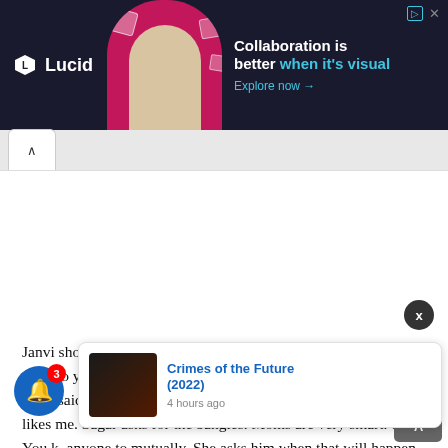[Figure (screenshot): Lucid advertisement banner with dark background, logo on left, decorative figure in center, text 'Collaboration is better when it's visual — Explore now →' on right]
Janvi shows off the bangles to Sagar. He is shocked. Who gave them to you? She replies that aunty gave it to her. Sagar says mom said they are for my would-be wife. Janvi is elated. She likes me. Sagar asks for the bangles. Moms are very smart. eel. You k anyone to mutually. She asks him when that will happen. He says
[Figure (screenshot): Popup notification card showing 'Crimes of the Future (2022)' with movie thumbnail and timestamp '4 hours ago']